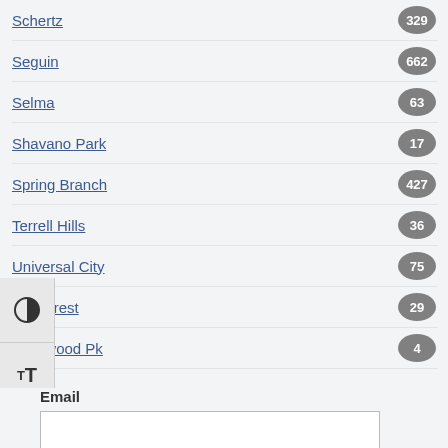Schertz 329
Seguin 662
Selma 63
Shavano Park 17
Spring Branch 427
Terrell Hills 36
Universal City 75
Windcrest 29
Hollywood Pk 4
Email
SUBMIT